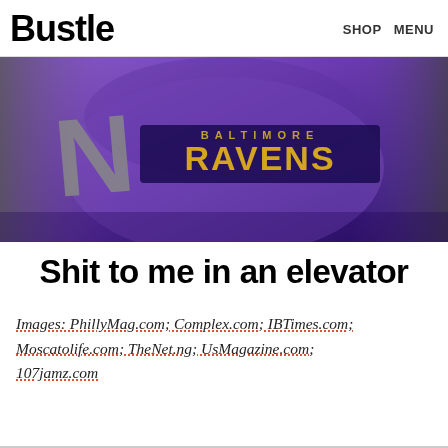Bustle   SHOP   MENU
[Figure (photo): A person wearing a purple Baltimore Ravens NFL jersey, close-up view of the back showing the Ravens wordmark logo.]
Shit to me in an elevator
Images: PhillyMag.com; Complex.com; IBTimes.com; Moscatolife.com; TheNet.ng; UsMagazine.com; 107jamz.com